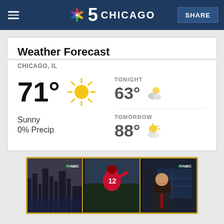NBC 5 Chicago
Weather Forecast
CHICAGO, IL
71° Sunny 0% Precip
TONIGHT 63°
TOMORROW 88°
[Figure (screenshot): Three thumbnail images from NBC news segments including a city skyline, a football player, and a news anchor]